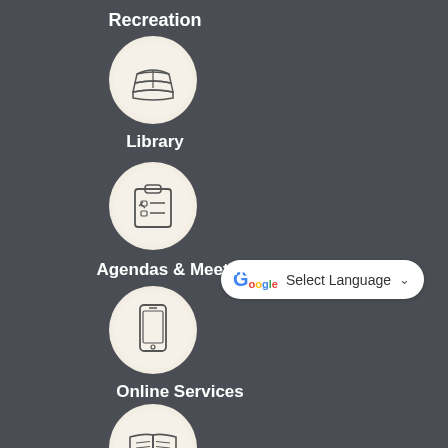Recreation
[Figure (illustration): Stack of books icon in a circular cream/beige background]
Library
[Figure (screenshot): Google Translate 'Select Language' dropdown widget with Google G logo]
[Figure (illustration): Clipboard with checklist icon in a circular cream/beige background]
Agendas & Meetings
[Figure (illustration): Smartphone/mobile phone icon in a circular cream/beige background]
Online Services
[Figure (illustration): Open book icon in a circular cream/beige background]